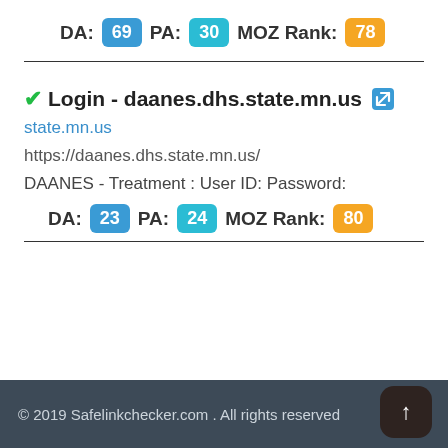DA: 69  PA: 30  MOZ Rank: 78
Login - daanes.dhs.state.mn.us
state.mn.us
https://daanes.dhs.state.mn.us/
DAANES - Treatment : User ID: Password:
DA: 23  PA: 24  MOZ Rank: 80
© 2019 Safelinkchecker.com . All rights reserved